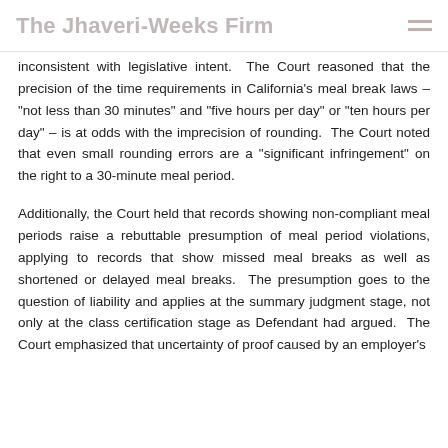The Jhaveri-Weeks Firm
inconsistent with legislative intent.  The Court reasoned that the precision of the time requirements in California’s meal break laws – “not less than 30 minutes” and “five hours per day” or “ten hours per day” – is at odds with the imprecision of rounding.  The Court noted that even small rounding errors are a “significant infringement” on the right to a 30-minute meal period.
Additionally, the Court held that records showing non-compliant meal periods raise a rebuttable presumption of meal period violations, applying to records that show missed meal breaks as well as shortened or delayed meal breaks.  The presumption goes to the question of liability and applies at the summary judgment stage, not only at the class certification stage as Defendant had argued.  The Court emphasized that uncertainty of proof caused by an employer’s